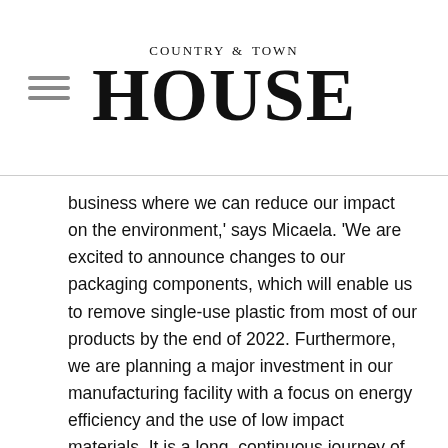COUNTRY & TOWN HOUSE
business where we can reduce our impact on the environment,' says Micaela. 'We are excited to announce changes to our packaging components, which will enable us to remove single-use plastic from most of our products by the end of 2022. Furthermore, we are planning a major investment in our manufacturing facility with a focus on energy efficiency and the use of low impact materials. It is a long, continuous journey of change to which we are fully committed.'
Another top priority for the brand is working